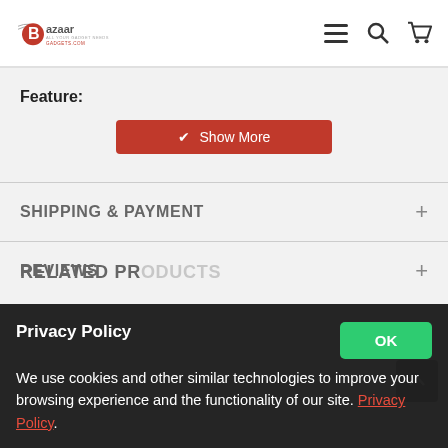[Figure (logo): Bazaar Gadgets logo with stylized B and swoosh]
Feature:
Show More
SHIPPING & PAYMENT
REVIEWS
Privacy Policy
We use cookies and other similar technologies to improve your browsing experience and the functionality of our site. Privacy Policy.